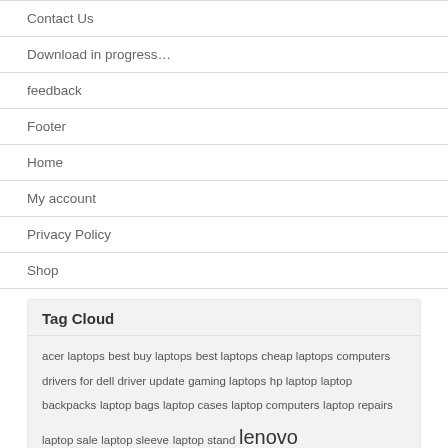Contact Us
Download in progress…
feedback
Footer
Home
My account
Privacy Policy
Shop
Tag Cloud
acer laptops best buy laptops best laptops cheap laptops computers drivers for dell driver update gaming laptops hp laptop laptop backpacks laptop bags laptop cases laptop computers laptop repairs laptop sale laptop sleeve laptop stand lenovo laptops mac laptops mini laptop notebooks pink laptop refurbished laptops small laptops thinkpad thinkpad laptop toshiba toshiba laptops used laptops windows 10 driver update